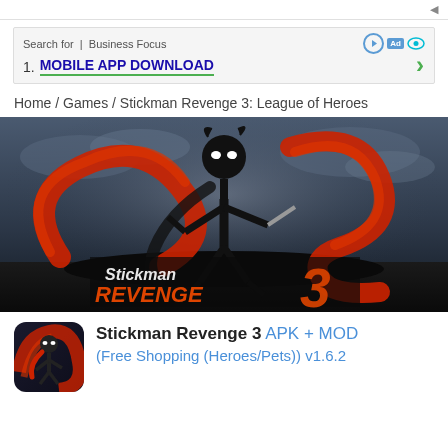apk...dy
[Figure (other): Advertisement banner: Search for | Business Focus with play icon, Ad badge, eye icon. Item 1. MOBILE APP DOWNLOAD with green arrow and underline]
Home / Games / Stickman Revenge 3: League of Heroes
[Figure (illustration): Stickman Revenge 3 game promotional image showing a black stickman character with red swirling energy on a dark stormy background with the game logo text 'Stickman Revenge 3']
[Figure (illustration): Stickman Revenge 3 game icon showing a red and black stickman character]
Stickman Revenge 3 APK + MOD (Free Shopping (Heroes/Pets)) v1.6.2